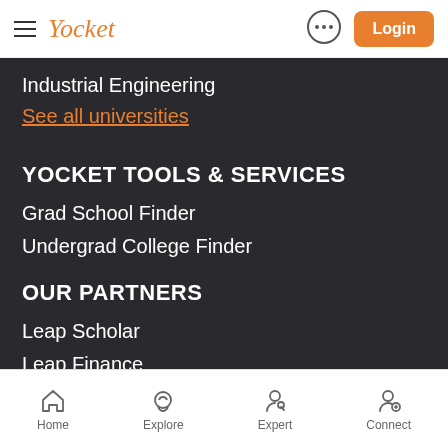Yocket  Login
Industrial Engineering
See all universities
YOCKET TOOLS & SERVICES
Grad School Finder
Undergrad College Finder
OUR PARTNERS
Leap Scholar
Leap Finance
Home  Explore  Expert  Connect